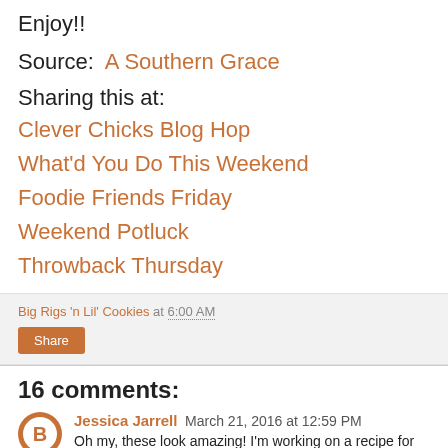Enjoy!!
Source:  A Southern Grace
Sharing this at:
Clever Chicks Blog Hop
What'd You Do This Weekend
Foodie Friends Friday
Weekend Potluck
Throwback Thursday
Big Rigs 'n Lil' Cookies at 6:00 AM
Share
16 comments:
Jessica Jarrell  March 21, 2016 at 12:59 PM
Oh my, these look amazing! I'm working on a recipe for my blog, basically trying to find the best chocolate chip recipe...